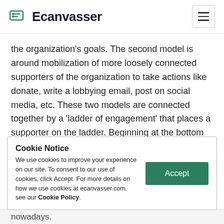Ecanvasser
the organization’s goals. The second model is around mobilization of more loosely connected supporters of the organization to take actions like donate, write a lobbying email, post on social media, etc. These two models are connected together by a ‘ladder of engagement’ that places a supporter on the ladder. Beginning at the bottom the supporter engagement
Cookie Notice
We use cookies to improve your experience on our site. To consent to our use of cookies, click Accept. For more details on how we use cookies at ecanvasser.com, see our Cookie Policy.
nowadays.